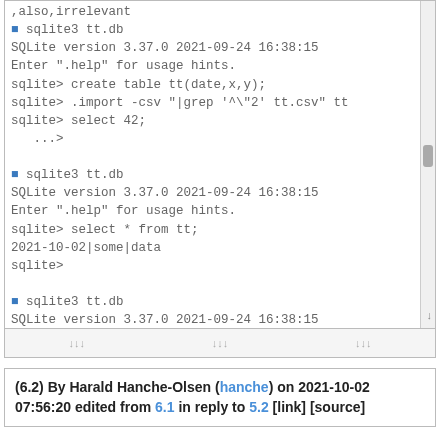[Figure (screenshot): Terminal/console screenshot showing three sqlite3 sessions with commands: creating a table, importing CSV data with grep filters, and selecting data. Output shows 2021-10-02|some|data rows.]
(6.2) By Harald Hanche-Olsen (hanche) on 2021-10-02 07:56:20 edited from 6.1 in reply to 5.2 [link] [source]